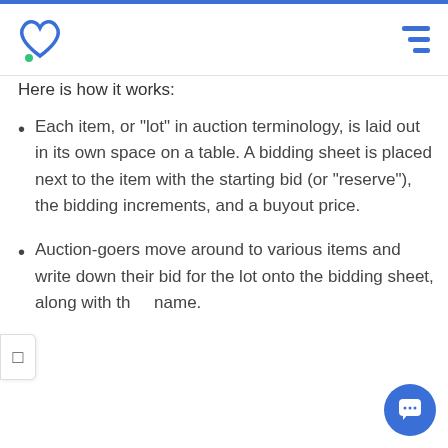Logo and navigation header
Here is how it works:
Each item, or "lot" in auction terminology, is laid out in its own space on a table. A bidding sheet is placed next to the item with the starting bid (or "reserve"), the bidding increments, and a buyout price.
Auction-goers move around to various items and write down their bid for the lot onto the bidding sheet, along with their name.